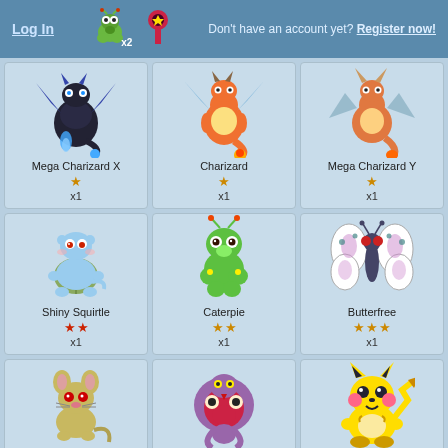Log In | [icons] | Don't have an account yet? Register now!
[Figure (illustration): Mega Charizard X pokemon card, 1 star gold, x1]
[Figure (illustration): Charizard pokemon card, 1 star gold, x1]
[Figure (illustration): Mega Charizard Y pokemon card, 1 star gold, x1]
[Figure (illustration): Shiny Squirtle pokemon card, 2 red stars, x1]
[Figure (illustration): Caterpie pokemon card, 2 gold stars, x1]
[Figure (illustration): Butterfree pokemon card, 3 gold stars, x1]
[Figure (illustration): Shiny Rattata pokemon card, 2 red stars]
[Figure (illustration): Arbok pokemon card, 3 gold stars]
[Figure (illustration): Pikachu pokemon card, 1 gold star]